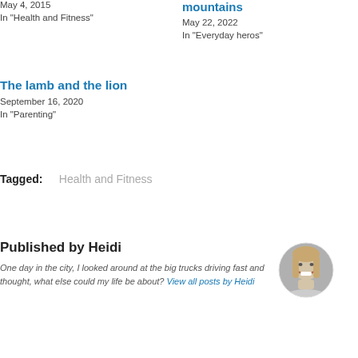May 4, 2015
In "Health and Fitness"
mountains
May 22, 2022
In "Everyday heros"
The lamb and the lion
September 16, 2020
In "Parenting"
Tagged:   Health and Fitness
Published by Heidi
One day in the city, I looked around at the big trucks driving fast and thought, what else could my life be about? View all posts by Heidi
[Figure (photo): Circular portrait photo of a smiling blonde woman]